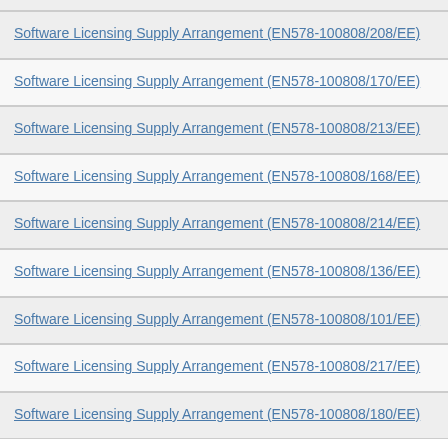Software Licensing Supply Arrangement (EN578-100808/208/EE)
Software Licensing Supply Arrangement (EN578-100808/170/EE)
Software Licensing Supply Arrangement (EN578-100808/213/EE)
Software Licensing Supply Arrangement (EN578-100808/168/EE)
Software Licensing Supply Arrangement (EN578-100808/214/EE)
Software Licensing Supply Arrangement (EN578-100808/136/EE)
Software Licensing Supply Arrangement (EN578-100808/101/EE)
Software Licensing Supply Arrangement (EN578-100808/217/EE)
Software Licensing Supply Arrangement (EN578-100808/180/EE)